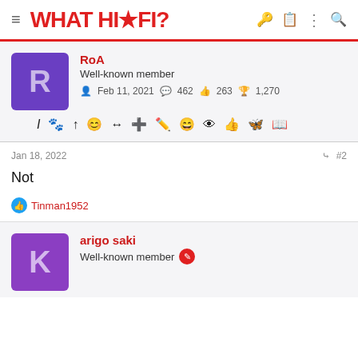WHAT HI·FI?
RoA
Well-known member
Feb 11, 2021  462  263  1,270
Jan 18, 2022  #2
Not
Tinman1952
arigo saki
Well-known member